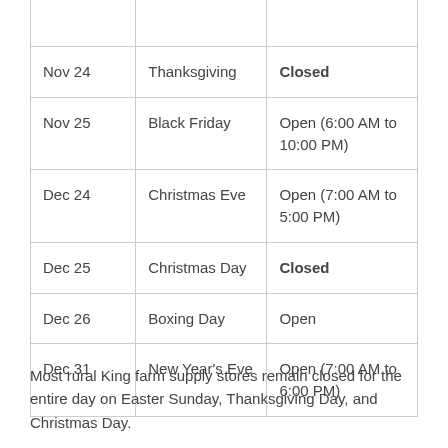| Nov 24 | Thanksgiving | Closed |
| Nov 25 | Black Friday | Open (6:00 AM to 10:00 PM) |
| Dec 24 | Christmas Eve | Open (7:00 AM to 5:00 PM) |
| Dec 25 | Christmas Day | Closed |
| Dec 26 | Boxing Day | Open |
| Dec 31 | New Year's Eve | Open (7:00 AM to 6:00 PM) |
Most rural King farm supply stores remain closed for the entire day on Easter Sunday, Thanksgiving Day, and Christmas Day.